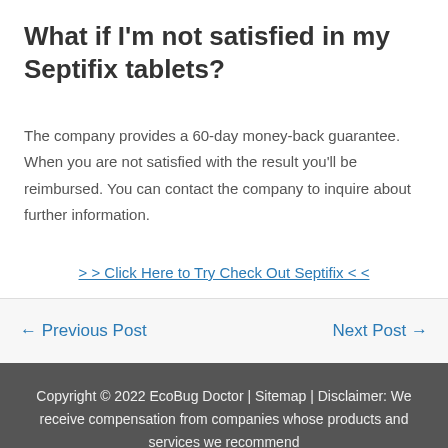What if I'm not satisfied in my Septifix tablets?
The company provides a 60-day money-back guarantee. When you are not satisfied with the result you'll be reimbursed. You can contact the company to inquire about further information.
>> Click Here to Try Check Out Septifix <<
← Previous Post    Next Post →
Copyright © 2022 EcoBug Doctor | Sitemap | Disclaimer: We receive compensation from companies whose products and services we recommend